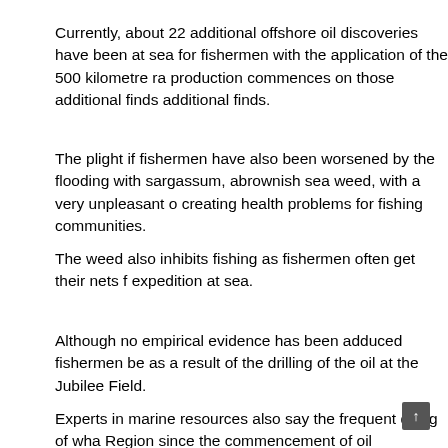Currently, about 22 additional offshore oil discoveries have been at sea for fishermen with the application of the 500 kilometre ra... production commences on those additional finds additional finds.
The plight if fishermen have also been worsened by the flooding with sargassum, abrownish sea weed, with a very unpleasant o... creating health problems for fishing communities.
The weed also inhibits fishing as fishermen often get their nets f... expedition at sea.
Although no empirical evidence has been adduced fishermen be... as a result of the drilling of the oil at the Jubilee Field.
Experts in marine resources also say the frequent dying of wha... Region since the commencement of oil production at the Jubilee... not well with the country's marine resources.